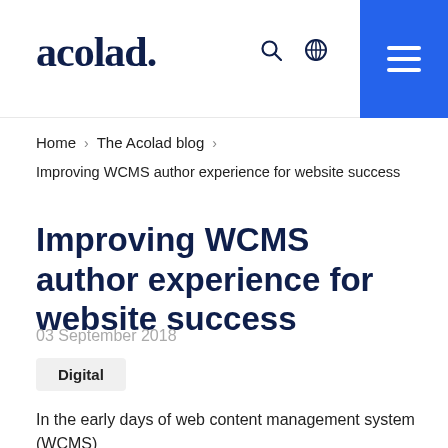acolad.
Home › The Acolad blog › Improving WCMS author experience for website success
Improving WCMS author experience for website success
03 September 2018
Digital
In the early days of web content management system (WCMS)